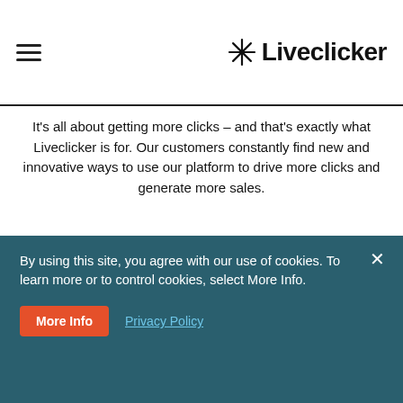[Figure (logo): Liveclicker logo with asterisk/star icon and bold wordmark]
It's all about getting more clicks – and that's exactly what Liveclicker is for. Our customers constantly find new and innovative ways to use our platform to drive more clicks and generate more sales.
Increase customer lifetime value (CLV) across every step of the customer journey with next-level personalization
[Figure (screenshot): Dark green email card showing 'Happy Birthday Morgan!' and 'Guess what we got you']
By using this site, you agree with our use of cookies. To learn more or to control cookies, select More Info.